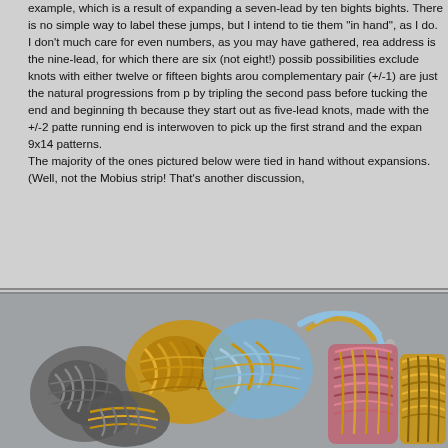example, which is a result of expanding a seven-lead by ten bights bights. There is no simple way to label these jumps, but I intend to tie them "in hand", as I do.
I don't much care for even numbers, as you may have gathered, rea address is the nine-lead, for which there are six (not eight!) possib possibilities exclude knots with either twelve or fifteen bights arou complementary pair (+/-1) are just the natural progressions from p by tripling the second pass before tucking the end and beginning th because they start out as five-lead knots, made with the +/-2 patte running end is interwoven to pick up the first strand and the expan 9x14 patterns.
The majority of the ones pictured below were tied in hand without expansions. (Well, not the Mobius strip! That's another discussion,
[Figure (photo): Photograph of multiple knotted rope samples (turk's head or similar flat knots) in various colors including grey, yellow/gold, blue, pink/red, laid out on a grey background. The knots show different weaving patterns and sizes.]